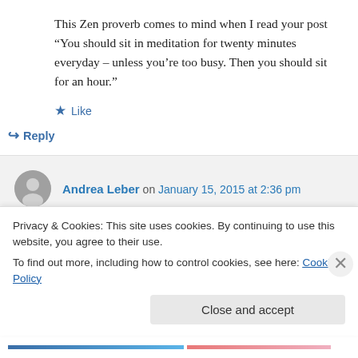This Zen proverb comes to mind when I read your post “You should sit in meditation for twenty minutes everyday – unless you’re too busy. Then you should sit for an hour.”
★ Like
↳ Reply
Andrea Leber on January 15, 2015 at 2:36 pm
I love this proverb, very fitting! 🙂
Privacy & Cookies: This site uses cookies. By continuing to use this website, you agree to their use.
To find out more, including how to control cookies, see here: Cookie Policy
Close and accept